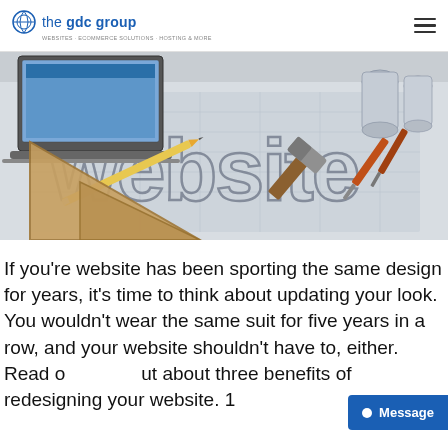the gdc group — WEBSITES · ECOMMERCE SOLUTIONS · HOSTING & MORE
[Figure (photo): Blueprint/technical drawing spread on a desk with the word 'website' drawn in outline letters, surrounded by a laptop, rolled blueprints, a pencil, wooden set squares, a hammer, and screwdrivers — web design concept photo in grayscale/sepia tones]
If you're website has been sporting the same design for years, it's time to think about updating your look. You wouldn't wear the same suit for five years in a row, and your website shouldn't have to, either. Read out about three benefits of redesigning your website. 1